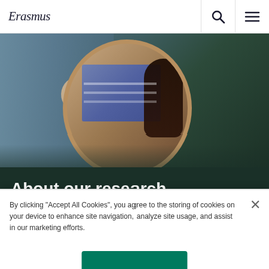[Figure (screenshot): Erasmus University website header with logo on left and search/menu icons on right]
[Figure (photo): Hero image showing a man pointing at a circular screen display with a child's image, set against a dark background]
About our research
By clicking "Accept All Cookies", you agree to the storing of cookies on your device to enhance site navigation, analyze site usage, and assist in our marketing efforts.